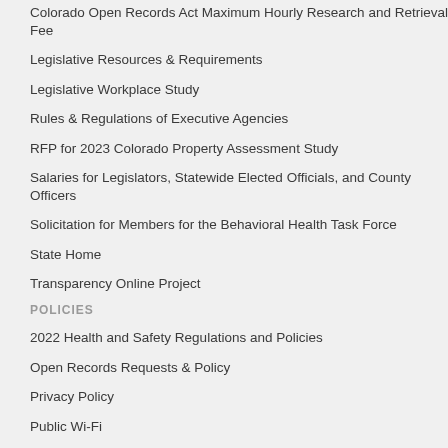Colorado Open Records Act Maximum Hourly Research and Retrieval Fee
Legislative Resources & Requirements
Legislative Workplace Study
Rules & Regulations of Executive Agencies
RFP for 2023 Colorado Property Assessment Study
Salaries for Legislators, Statewide Elected Officials, and County Officers
Solicitation for Members for the Behavioral Health Task Force
State Home
Transparency Online Project
POLICIES
2022 Health and Safety Regulations and Policies
Open Records Requests & Policy
Privacy Policy
Public Wi-Fi